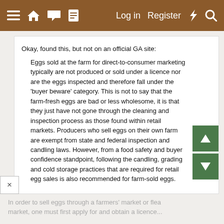≡  🏠  💬  📄    Log in   Register   ⚡   🔍
Okay, found this, but not on an official GA site:
Eggs sold at the farm for direct-to-consumer marketing typically are not produced or sold under a licence nor are the eggs inspected and therefore fall under the 'buyer beware' category. This is not to say that the farm-fresh eggs are bad or less wholesome, it is that they just have not gone through the cleaning and inspection process as those found within retail markets. Producers who sell eggs on their own farm are exempt from state and federal inspection and candling laws. However, from a food safety and buyer confidence standpoint, following the candling, grading and cold storage practices that are required for retail egg sales is also recommended for farm-sold eggs.
In order to sell eggs through a farmers' market or flea market, one must first apply for and obtain a licence...